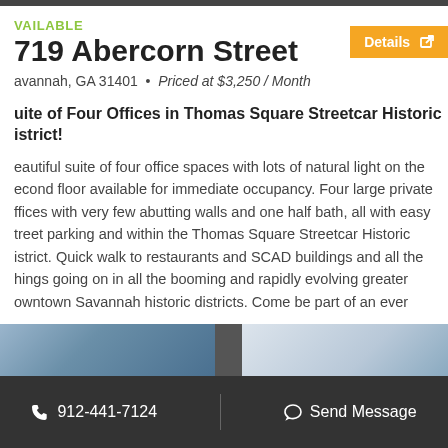AVAILABLE
719 Abercorn Street
Savannah, GA 31401 • Priced at $3,250 / Month
Suite of Four Offices in Thomas Square Streetcar Historic District!
Beautiful suite of four office spaces with lots of natural light on the second floor available for immediate occupancy. Four large private offices with very few abutting walls and one half bath, all with easy street parking and within the Thomas Square Streetcar Historic District. Quick walk to restaurants and SCAD buildings and all the things going on in all the booming and rapidly evolving greater downtown Savannah historic districts. Come be part of an ever
912-441-7124  Send Message